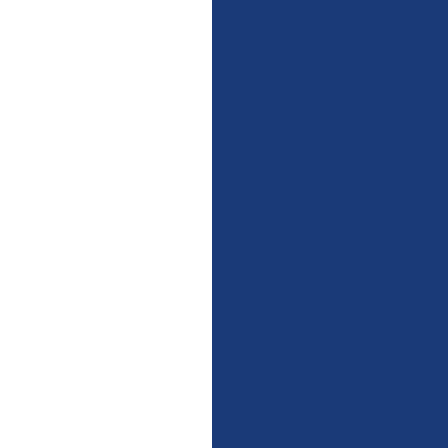[Figure (other): Dark navy blue vertical bar/sidebar element spanning the full height of the page, positioned in the center-right area]
Ibid.
Eliz
Yor
(Yo
and
Me
Wh
(20
'Am
ma
to R
'Cle
tra
Eng
(ed.
Eur
178
prie
ther
The
ma
died
(ed.
the
194
Dor
46.
was
con
pla
sev
Ave